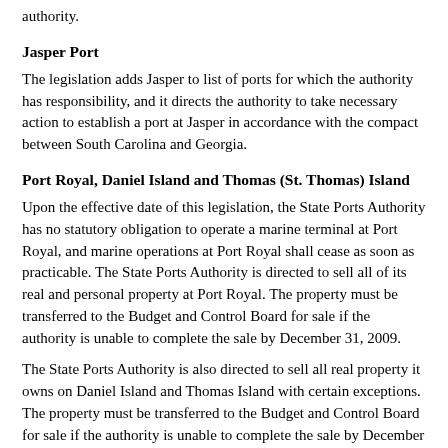authority.
Jasper Port
The legislation adds Jasper to list of ports for which the authority has responsibility, and it directs the authority to take necessary action to establish a port at Jasper in accordance with the compact between South Carolina and Georgia.
Port Royal, Daniel Island and Thomas (St. Thomas) Island
Upon the effective date of this legislation, the State Ports Authority has no statutory obligation to operate a marine terminal at Port Royal, and marine operations at Port Royal shall cease as soon as practicable. The State Ports Authority is directed to sell all of its real and personal property at Port Royal. The property must be transferred to the Budget and Control Board for sale if the authority is unable to complete the sale by December 31, 2009.
The State Ports Authority is also directed to sell all real property it owns on Daniel Island and Thomas Island with certain exceptions. The property must be transferred to the Budget and Control Board for sale if the authority is unable to complete the sale by December 31, 2013. The legislation gives the right of first refusal to those former landowners on Thomas Island who sold their land located within the transportation corridor to the authority in anticipation of